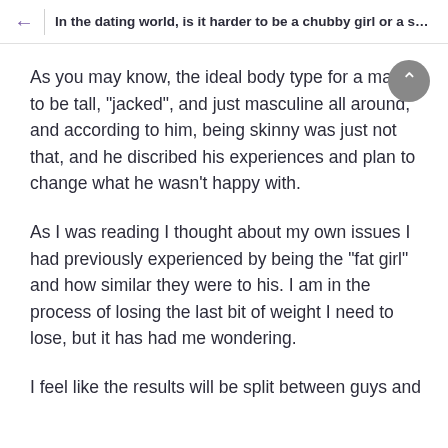In the dating world, is it harder to be a chubby girl or a s…
As you may know, the ideal body type for a male is to be tall, "jacked", and just masculine all around, and according to him, being skinny was just not that, and he discribed his experiences and plan to change what he wasn't happy with.
As I was reading I thought about my own issues I had previously experienced by being the "fat girl" and how similar they were to his. I am in the process of losing the last bit of weight I need to lose, but it has had me wondering.
I feel like the results will be split between guys and